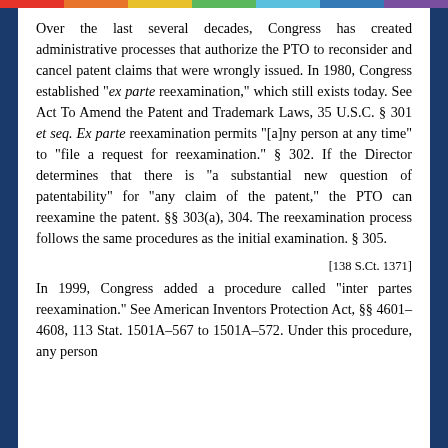Over the last several decades, Congress has created administrative processes that authorize the PTO to reconsider and cancel patent claims that were wrongly issued. In 1980, Congress established "ex parte reexamination," which still exists today. See Act To Amend the Patent and Trademark Laws, 35 U.S.C. § 301 et seq. Ex parte reexamination permits "[a]ny person at any time" to "file a request for reexamination." § 302. If the Director determines that there is "a substantial new question of patentability" for "any claim of the patent," the PTO can reexamine the patent. §§ 303(a), 304. The reexamination process follows the same procedures as the initial examination. § 305.
[138 S.Ct. 1371]
In 1999, Congress added a procedure called "inter partes reexamination." See American Inventors Protection Act, §§ 4601–4608, 113 Stat. 1501A–567 to 1501A–572. Under this procedure, any person